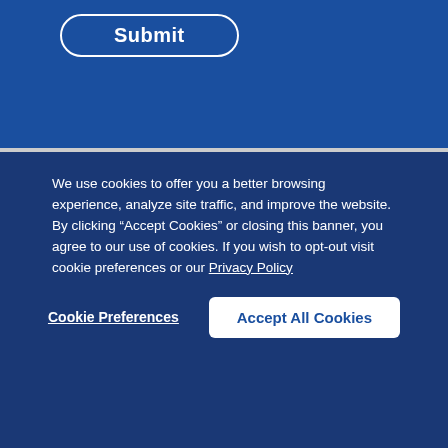Submit
COMPANY
ACCOUNT
SUPPORT
About Us
Careers
Login
Register
Technical Support
We use cookies to offer you a better browsing experience, analyze site traffic, and improve the website. By clicking “Accept Cookies” or closing this banner, you agree to our use of cookies. If you wish to opt-out visit cookie preferences or our Privacy Policy
Cookie Preferences
Accept All Cookies